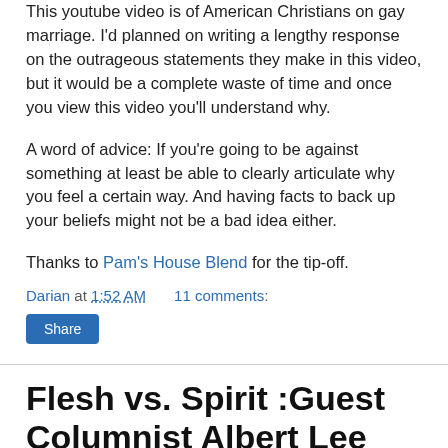This youtube video is of American Christians on gay marriage. I'd planned on writing a lengthy response on the outrageous statements they make in this video, but it would be a complete waste of time and once you view this video you'll understand why.
A word of advice: If you're going to be against something at least be able to clearly articulate why you feel a certain way. And having facts to back up your beliefs might not be a bad idea either.
Thanks to Pam's House Blend for the tip-off.
Darian at 1:52 AM    11 comments:
Share
Flesh vs. Spirit :Guest Columnist Albert Lee
[Figure (photo): Dark image placeholder at bottom of page]